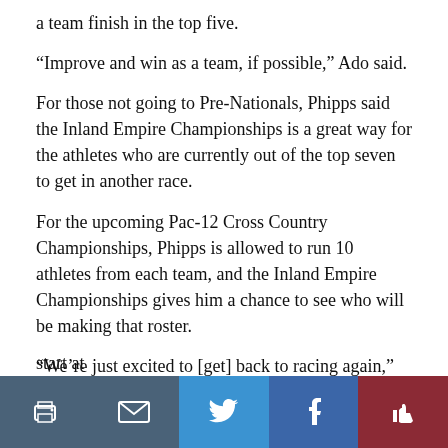a team finish in the top five.
“Improve and win as a team, if possible,” Ado said.
For those not going to Pre-Nationals, Phipps said the Inland Empire Championships is a great way for the athletes who are currently out of the top seven to get in another race.
For the upcoming Pac-12 Cross Country Championships, Phipps is allowed to run 10 athletes from each team, and the Inland Empire Championships gives him a chance to see who will be making that roster.
“We’re just excited to [get] back to racing again,” Phipps said. “Excited for all the races moving forward.”
The Inland Empire Championships will be held at the Lewis and Clark State College cross country course. The women’s race will start at 10 a.m. and the men’s race will start at…
[Figure (infographic): Social share bar with five buttons: print (dark blue-grey), email (dark blue-grey), Twitter (blue), Facebook (blue), recommend/thumbs-up (dark red)]